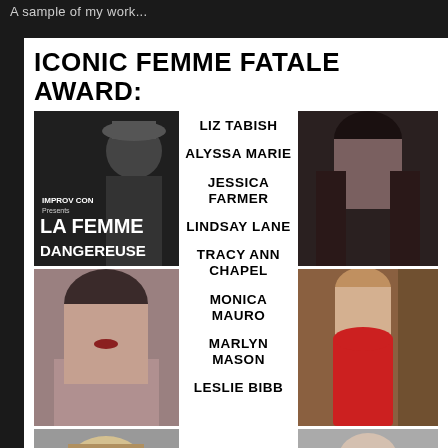A sample of my work...
ICONIC FEMME FATALE AWARD:
[Figure (photo): Black and white movie poster for 'La Femme Dangereuse' with shadowy female figure in hat]
LIZ TABISH
ALYSSA MARIE
JESSICA FARMER
[Figure (photo): Dark portrait photo of a woman with long dark hair]
[Figure (photo): Color portrait photo of a woman with dark hair and red lips]
LINDSAY LANE
TRACY ANN CHAPEL
MONICA MAURO
[Figure (photo): Color photo of a woman in a red dress]
[Figure (photo): Black and white photo of a woman with bangs against a brick wall]
MARLYN MASON
LESLIE BIBB
[Figure (photo): Partial photo visible at bottom right]
[Figure (photo): Partial photo visible at bottom center]